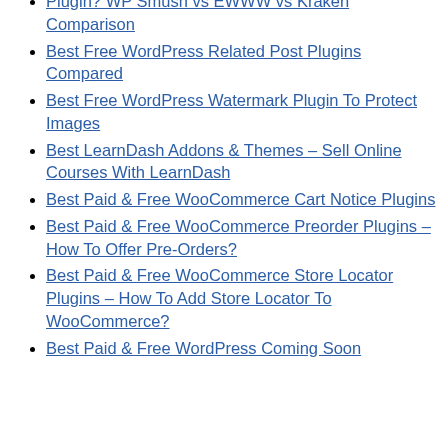Plugin? WP Smush vs EWWW vs Kraken Comparison
Best Free WordPress Related Post Plugins Compared
Best Free WordPress Watermark Plugin To Protect Images
Best LearnDash Addons & Themes – Sell Online Courses With LearnDash
Best Paid & Free WooCommerce Cart Notice Plugins
Best Paid & Free WooCommerce Preorder Plugins – How To Offer Pre-Orders?
Best Paid & Free WooCommerce Store Locator Plugins – How To Add Store Locator To WooCommerce?
Best Paid & Free WordPress Coming Soon